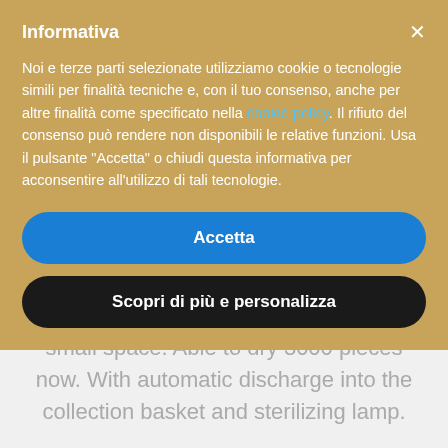practical machine! Great results in a small space. Able to dry 3000 pieces now. With automatic discharge into the collection basket and sterilizing lamp.
Informativa
Noi e terze parti selezionate utilizziamo cookie o tecnologie simili per finalità tecniche e, con il tuo consenso, anche per altre finalità come specificato nella cookie policy. Il rifiuto del consenso può rendere non disponibili le relative funzioni. Usa il pulsante "Accetta" o chiudi questa informativa per acconsentire all'utilizzo di tali tecnologie.
Accetta
Scopri di più e personalizza